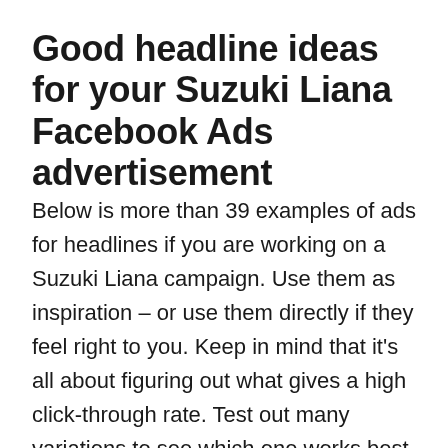Good headline ideas for your Suzuki Liana Facebook Ads advertisement
Below is more than 39 examples of ads for headlines if you are working on a Suzuki Liana campaign. Use them as inspiration – or use them directly if they feel right to you. Keep in mind that it's all about figuring out what gives a high click-through rate. Test out many variations to see which one works best in your advertisement campaign.